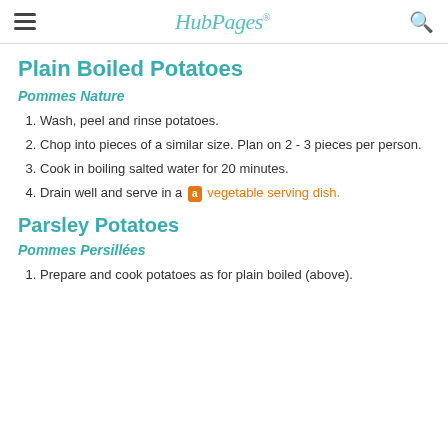HubPages
Plain Boiled Potatoes
Pommes Nature
Wash, peel and rinse potatoes.
Chop into pieces of a similar size. Plan on 2 - 3 pieces per person.
Cook in boiling salted water for 20 minutes.
Drain well and serve in a vegetable serving dish.
Parsley Potatoes
Pommes Persillées
Prepare and cook potatoes as for plain boiled (above).